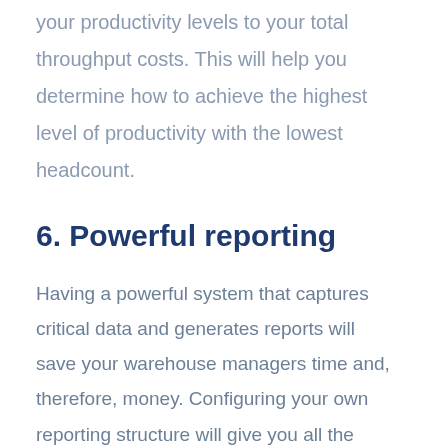your productivity levels to your total throughput costs. This will help you determine how to achieve the highest level of productivity with the lowest headcount.
6. Powerful reporting
Having a powerful system that captures critical data and generates reports will save your warehouse managers time and, therefore, money. Configuring your own reporting structure will give you all the insights you need to evaluate productivity